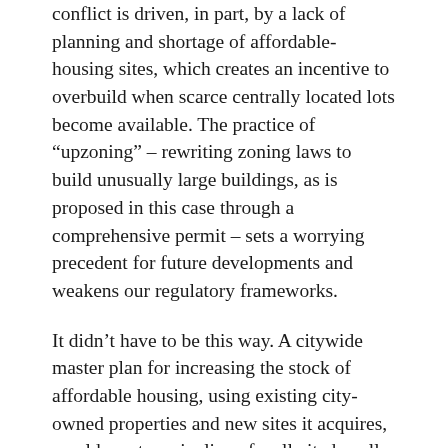conflict is driven, in part, by a lack of planning and shortage of affordable-housing sites, which creates an incentive to overbuild when scarce centrally located lots become available. The practice of “upzoning” – rewriting zoning laws to build unusually large buildings, as is proposed in this case through a comprehensive permit – sets a worrying precedent for future developments and weakens our regulatory frameworks.
It didn’t have to be this way. A citywide master plan for increasing the stock of affordable housing, using existing city-owned properties and new sites it acquires, would create a pipeline of well-sited, well-designed affordable housing units. The “Envision Cambridge” process set a target of developing 3,175 affordable units by 2030, which would require building more than 300 units per year. But the city lacks an implementation strategy to meet this goal. Our current affordable-housing budget covers the building of only 52 units per year – and even that is underutilized (in 2019, zero units were completed). A